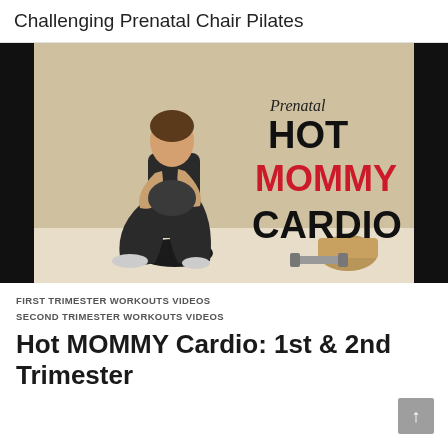Challenging Prenatal Chair Pilates
[Figure (photo): A pregnant woman in workout clothes performing a squat exercise. In the background text reads 'Prenatal HOT MOMMY CARDIO' with HOT and CARDIO in black bold text and MOMMY in red bold text. Dumbbells are visible on the floor.]
FIRST TRIMESTER WORKOUTS VIDEOS
SECOND TRIMESTER WORKOUTS VIDEOS
Hot MOMMY Cardio: 1st & 2nd Trimester